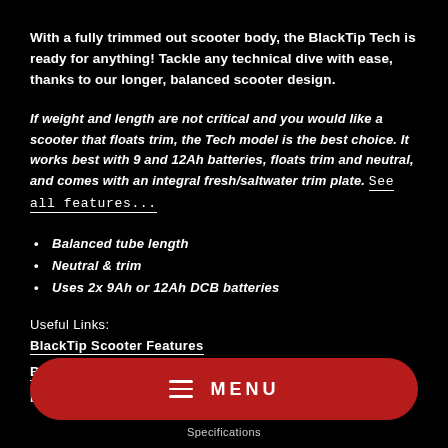With a fully trimmed out scooter body, the BlackTip Tech is ready for anything! Tackle any technical dive with ease, thanks to our longer, balanced scooter design.
If weight and length are not critical and you would like a scooter that floats trim, the Tech model is the best choice.  It works best with 9 and 12Ah batteries, floats trim and neutral, and comes with an integral fresh/saltwater trim plate. See all features...
Balanced tube length
Neutral & trim
Uses 2x 9Ah or 12Ah DCB batteries
Useful Links:
BlackTip Scooter Features
BlackTip User Manual
Bl...
MENU
Specifications